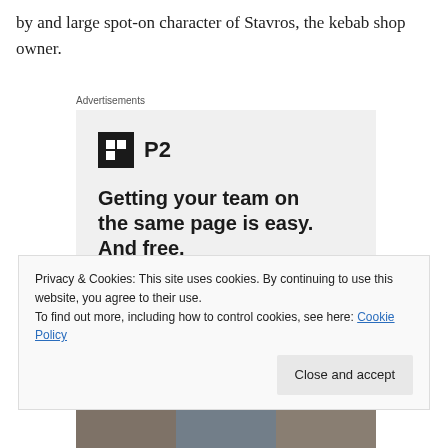by and large spot-on character of Stavros, the kebab shop owner.
Advertisements
[Figure (screenshot): Advertisement for P2 product showing logo, tagline 'Getting your team on the same page is easy. And free.' with circular avatar photos below.]
Privacy & Cookies: This site uses cookies. By continuing to use this website, you agree to their use.
To find out more, including how to control cookies, see here: Cookie Policy
Close and accept